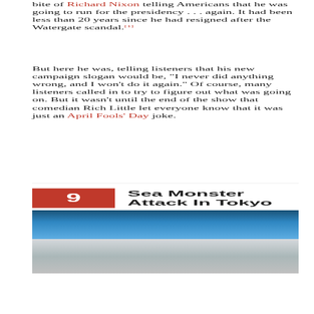bite of Richard Nixon telling Americans that he was going to run for the presidency . . . again. It had been less than 20 years since he had resigned after the Watergate scandal.[1]
But here he was, telling listeners that his new campaign slogan would be, "I never did anything wrong, and I won't do it again." Of course, many listeners called in to try to figure out what was going on. But it wasn't until the end of the show that comedian Rich Little let everyone know that it was just an April Fools' Day joke.
9 Sea Monster Attack In Tokyo
[Figure (photo): Two-part image: top portion shows dark blue ocean water, bottom portion shows a lighter grey/white underwater or foggy scene.]